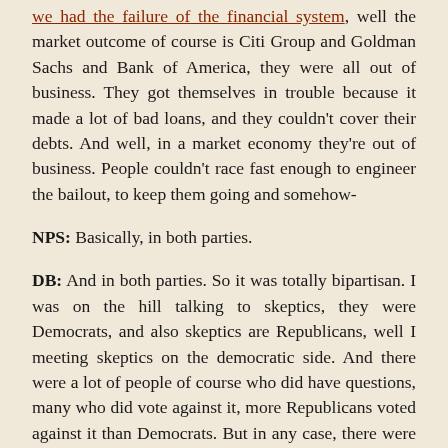we had the failure of the financial system, well the market outcome of course is Citi Group and Goldman Sachs and Bank of America, they were all out of business. They got themselves in trouble because it made a lot of bad loans, and they couldn't cover their debts. And well, in a market economy they're out of business. People couldn't race fast enough to engineer the bailout, to keep them going and somehow-
NPS: Basically, in both parties.
DB: And in both parties. So it was totally bipartisan. I was on the hill talking to skeptics, they were Democrats, and also skeptics are Republicans, well I meeting skeptics on the democratic side. And there were a lot of people of course who did have questions, many who did vote against it, more Republicans voted against it than Democrats. But in any case, there were those who voted against it, but basically they scared all these people saying the economy will disappear. They were saying this and, just to be clear, I don't mean to say there wouldn't have been greater disruption had